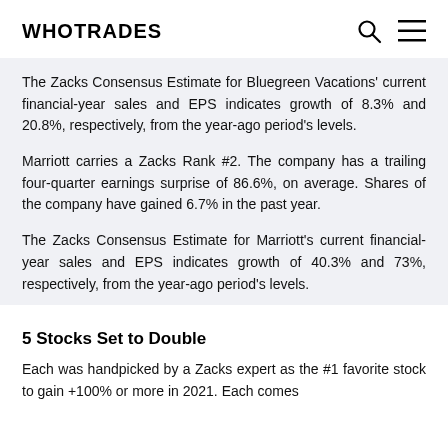WHOTRADES
The Zacks Consensus Estimate for Bluegreen Vacations' current financial-year sales and EPS indicates growth of 8.3% and 20.8%, respectively, from the year-ago period's levels.
Marriott carries a Zacks Rank #2. The company has a trailing four-quarter earnings surprise of 86.6%, on average. Shares of the company have gained 6.7% in the past year.
The Zacks Consensus Estimate for Marriott's current financial-year sales and EPS indicates growth of 40.3% and 73%, respectively, from the year-ago period's levels.
5 Stocks Set to Double
Each was handpicked by a Zacks expert as the #1 favorite stock to gain +100% or more in 2021. Each comes